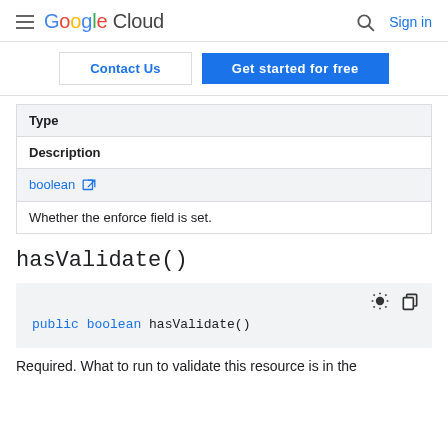Google Cloud  [search icon]  Sign in
Contact Us  |  Get started for free
| Type | Description |
| --- | --- |
| boolean [external link] | Whether the enforce field is set. |
hasValidate()
public boolean hasValidate()
Required. What to run to validate this resource is in the